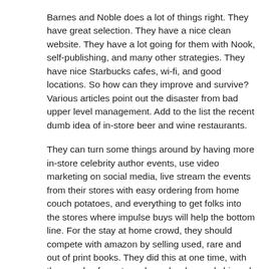Barnes and Noble does a lot of things right. They have great selection. They have a nice clean website. They have a lot going for them with Nook, self-publishing, and many other strategies. They have nice Starbucks cafes, wi-fi, and good locations. So how can they improve and survive? Various articles point out the disaster from bad upper level management. Add to the list the recent dumb idea of in-store beer and wine restaurants.
They can turn some things around by having more in-store celebrity author events, use video marketing on social media, live stream the events from their stores with easy ordering from home couch potatoes, and everything to get folks into the stores where impulse buys will help the bottom line. For the stay at home crowd, they should compete with amazon by selling used, rare and out of print books. They did this at one time, with thousands of great vendors who dropped shipped. The program could be re-started to compete with amazon. It went away due only to bad management at the top level. Amazon has a lot of flaws and weakness in the way they treat their vendors. By being fair, B & N could lure many thousands of them away from amazon and add a huge income stream. Forget the beer, go with the books.